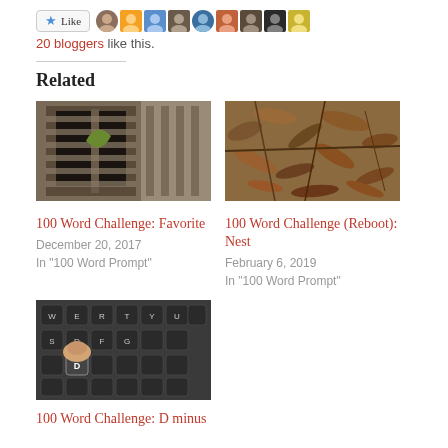20 bloggers like this.
Related
[Figure (photo): Photo of an old building window with a plant/leaf coming through]
100 Word Challenge: Favorite
December 20, 2017
In "100 Word Prompt"
[Figure (photo): Photo of dried leaves and branches/nest]
100 Word Challenge (Reboot): Nest
February 6, 2019
In "100 Word Prompt"
[Figure (photo): Photo of a keyboard with a finger pressing the D key]
100 Word Challenge: D minus